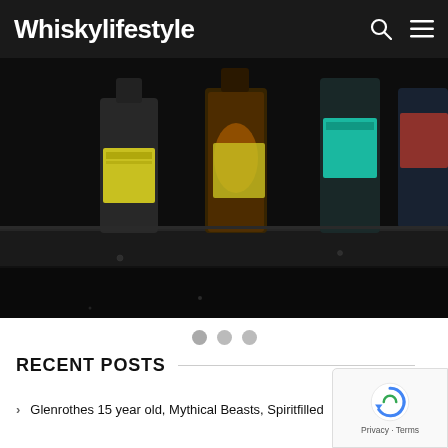Whiskylifestyle
[Figure (photo): Dark moody photo of whisky bottles with colorful labels (yellow, green, teal) on a dark reflective surface, shot close-up from a low angle]
[Figure (other): Three carousel navigation dots (grey circles)]
RECENT POSTS
Glenrothes 15 year old, Mythical Beasts, Spiritfilled